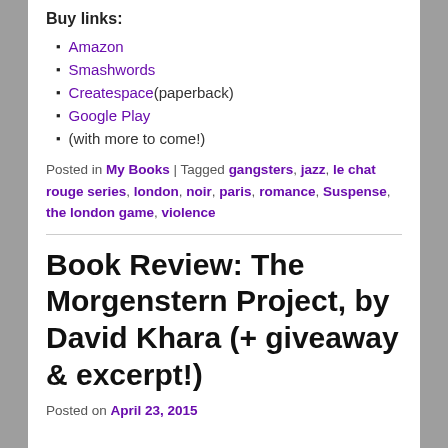Buy links:
Amazon
Smashwords
Createspace (paperback)
Google Play
(with more to come!)
Posted in My Books | Tagged gangsters, jazz, le chat rouge series, london, noir, paris, romance, Suspense, the london game, violence
Book Review: The Morgenstern Project, by David Khara (+ giveaway & excerpt!)
Posted on April 23, 2015